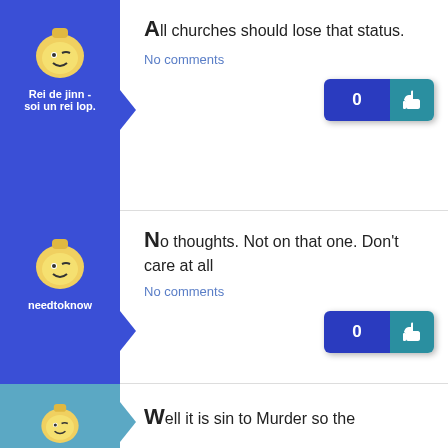[Figure (screenshot): Social media comment thread with user avatars, usernames, comment text, and like buttons]
Roi de jinn - soi un rei lop.
All churches should lose that status.
No comments
needtoknow
No thoughts. Not on that one. Don't care at all
No comments
Well it is sin to Murder so the